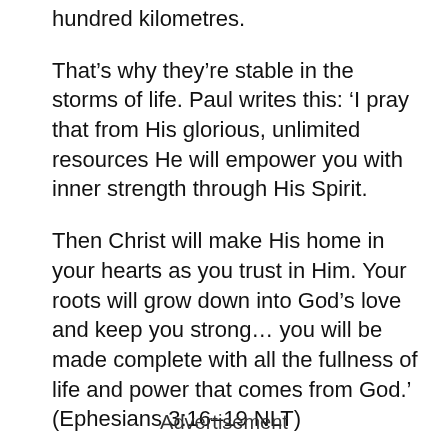hundred kilometres.
That’s why they’re stable in the storms of life. Paul writes this: ‘I pray that from His glorious, unlimited resources He will empower you with inner strength through His Spirit.
Then Christ will make His home in your hearts as you trust in Him. Your roots will grow down into God’s love and keep you strong… you will be made complete with all the fullness of life and power that comes from God.’ (Ephesians 3:16–19 NLT)
Advertisement